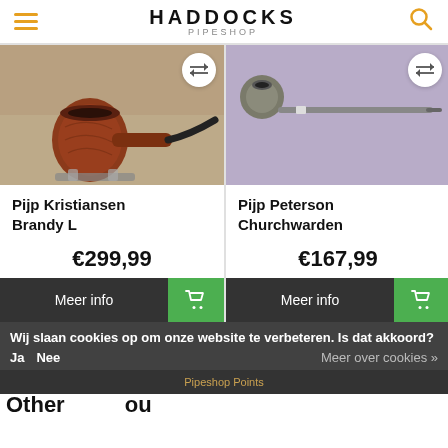HADDOCKS PIPESHOP
[Figure (photo): Photo of a brown briar tobacco pipe (Pijp Kristiansen Brandy L) on a stand, with a compare button overlay]
[Figure (photo): Photo of a long churchwarden tobacco pipe (Pijp Peterson Churchwarden) on a purple-grey background, with a compare button overlay]
Pijp Kristiansen Brandy L
Pijp Peterson Churchwarden
€299,99
€167,99
Meer info
Meer info
Wij slaan cookies op om onze website te verbeteren. Is dat akkoord?
Ja    Nee    Meer over cookies »
Pipeshop Points
Other
ou